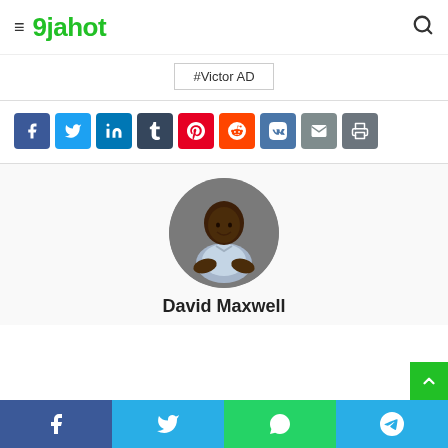9jahot
#Victor AD
[Figure (infographic): Row of social media share buttons: Facebook, Twitter, LinkedIn, Tumblr, Pinterest, Reddit, VK, Email, Print]
[Figure (photo): Author profile photo of David Maxwell — a young man with arms crossed, smiling, in a circular crop]
David Maxwell
Bottom share bar with Facebook, Twitter, WhatsApp, Telegram icons